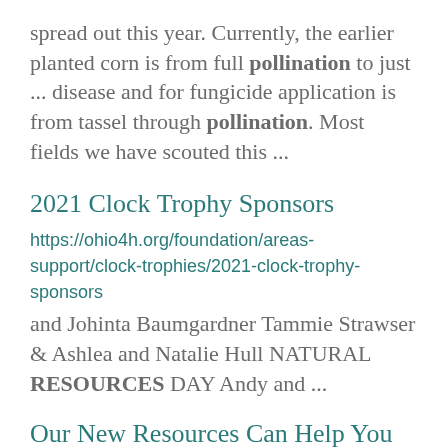spread out this year. Currently, the earlier planted corn is from full pollination to just ... disease and for fungicide application is from tassel through pollination. Most fields we have scouted this ...
2021 Clock Trophy Sponsors
https://ohio4h.org/foundation/areas-support/clock-trophies/2021-clock-trophy-sponsors
and Johinta Baumgardner Tammie Strawser & Ashlea and Natalie Hull NATURAL RESOURCES DAY Andy and ...
Our New Resources Can Help You